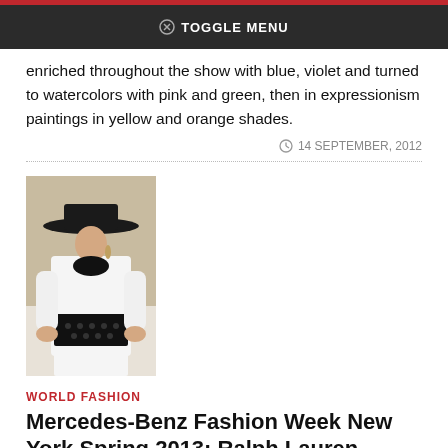TOGGLE MENU
enriched throughout the show with blue, violet and turned to watercolors with pink and green, then in expressionism paintings in yellow and orange shades.
14 SEPTEMBER, 2012
[Figure (photo): Fashion model wearing a white shirt with black embellished belt and black wide-brim hat]
WORLD FASHION
Mercedes-Benz Fashion Week New York Spring 2013: Ralph Lauren Collection
Ralph Lauren Spring 2013 collection is elegant and stylish with long